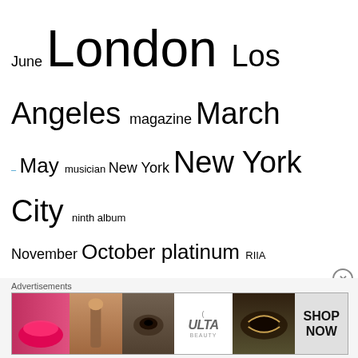[Figure (infographic): Tag cloud with music/blog related terms in varying sizes, all in blue: June, London, Los Angeles, magazine, March, May, musician, New York, New York City, ninth album, November, October, platinum, RIIA, Rolling Stone, second album, self titled album, September, seventh album, sixth album, third album, traditional, UK, US, Warner Bros]
Blog Stats
651,026 hits
Advertisements
[Figure (photo): Advertisement banner showing beauty/makeup images and ULTA logo with SHOP NOW text]